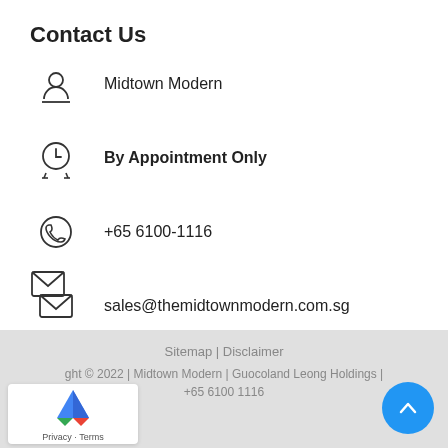Contact Us
Midtown Modern
By Appointment Only
+65 6100-1116
sales@themidtownmodern.com.sg
Sitemap | Disclaimer
ght © 2022 | Midtown Modern | Guocoland Leong Holdings | +65 6100 1116